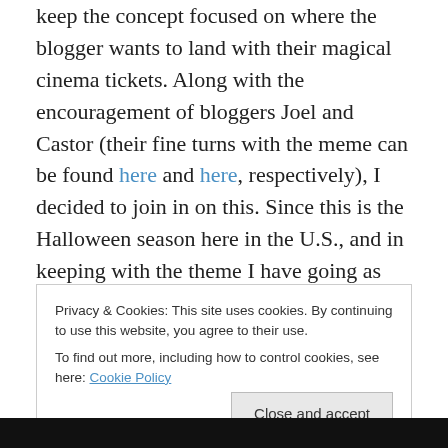keep the concept focused on where the blogger wants to land with their magical cinema tickets. Along with the encouragement of bloggers Joel and Castor (their fine turns with the meme can be found here and here, respectively), I decided to join in on this. Since this is the Halloween season here in the U.S., and in keeping with the theme I have going as we close out October, I plan on answering (hopefully) in that spirit (groan). Of course, everyone is invited to take part (whether in the comment section or with your own blog post). Here goes:
Privacy & Cookies: This site uses cookies. By continuing to use this website, you agree to their use.
To find out more, including how to control cookies, see here: Cookie Policy
Close and accept
[Figure (photo): Dark image strip at the bottom of the page]